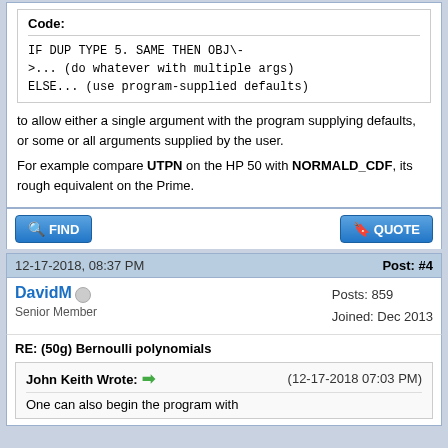Code:
IF DUP TYPE 5. SAME THEN OBJ\-
>... (do whatever with multiple args)
ELSE... (use program-supplied defaults)
to allow either a single argument with the program supplying defaults, or some or all arguments supplied by the user.
For example compare UTPN on the HP 50 with NORMALD_CDF, its rough equivalent on the Prime.
12-17-2018, 08:37 PM
Post: #4
DavidM
Senior Member
Posts: 859
Joined: Dec 2013
RE: (50g) Bernoulli polynomials
John Keith Wrote:
(12-17-2018 07:03 PM)
One can also begin the program with